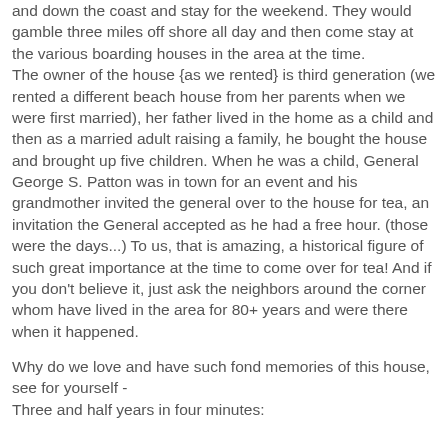and down the coast and stay for the weekend. They would gamble three miles off shore all day and then come stay at the various boarding houses in the area at the time. The owner of the house {as we rented} is third generation (we rented a different beach house from her parents when we were first married), her father lived in the home as a child and then as a married adult raising a family, he bought the house and brought up five children. When he was a child, General George S. Patton was in town for an event and his grandmother invited the general over to the house for tea, an invitation the General accepted as he had a free hour. (those were the days...) To us, that is amazing, a historical figure of such great importance at the time to come over for tea! And if you don't believe it, just ask the neighbors around the corner whom have lived in the area for 80+ years and were there when it happened.
Why do we love and have such fond memories of this house, see for yourself - Three and half years in four minutes: